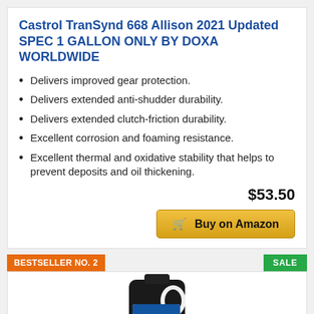Castrol TranSynd 668 Allison 2021 Updated SPEC 1 GALLON ONLY BY DOXA WORLDWIDE
Delivers improved gear protection.
Delivers extended anti-shudder durability.
Delivers extended clutch-friction durability.
Excellent corrosion and foaming resistance.
Excellent thermal and oxidative stability that helps to prevent deposits and oil thickening.
$53.50
Buy on Amazon
BESTSELLER NO. 2
SALE
[Figure (photo): Black plastic jug of Castrol TranSynd transmission fluid, showing label with Castrol logo and TranSynd text]